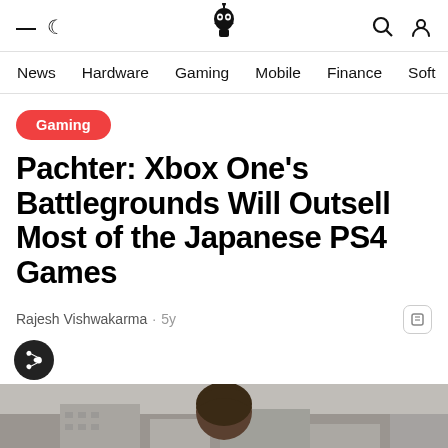News | Hardware | Gaming | Mobile | Finance | Soft
Gaming
Pachter: Xbox One's Battlegrounds Will Outsell Most of the Japanese PS4 Games
Rajesh Vishwakarma · 5y
[Figure (photo): Photo of a person (partial, cropped at bottom), shown from shoulders up, with a cityscape/building background. Dark hair, wearing dark clothing.]